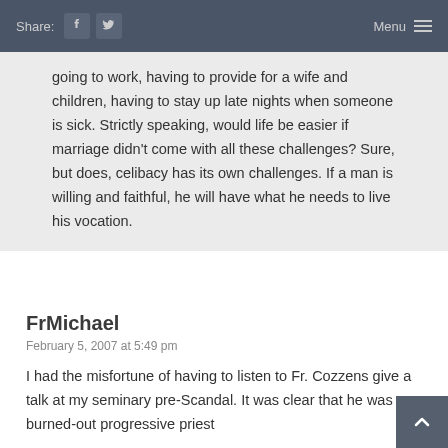Share: [Facebook] [Twitter]  Menu
going to work, having to provide for a wife and children, having to stay up late nights when someone is sick. Strictly speaking, would life be easier if marriage didn't come with all these challenges? Sure, but does, celibacy has its own challenges. If a man is willing and faithful, he will have what he needs to live his vocation.
FrMichael
February 5, 2007 at 5:49 pm
I had the misfortune of having to listen to Fr. Cozzens give a talk at my seminary pre-Scandal.  It was clear that he was a burned-out progressive priest